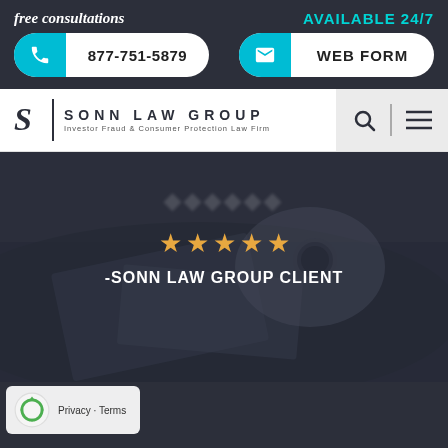free consultations
AVAILABLE 24/7
877-751-5879
WEB FORM
[Figure (logo): Sonn Law Group logo with stylized S and company name: SONN LAW GROUP, Investor Fraud & Consumer Protection Law Firm]
[Figure (screenshot): Hero image showing dark photo of hands near documents/briefcase, overlaid with star rating and client attribution text. Five gold stars and '-SONN LAW GROUP CLIENT' text visible.]
[Figure (logo): Google reCAPTCHA logo with Privacy and Terms links]